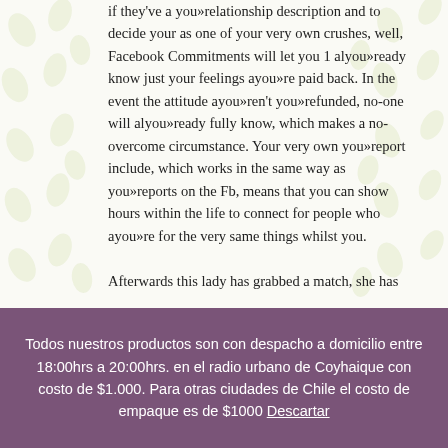if they've a you»relationship description and to decide your as one of your very own crushes, well, Facebook Commitments will let you 1 alyou»ready know just your feelings ayou»re paid back. In the event the attitude ayou»ren't you»refunded, no-one will alyou»ready fully know, which makes a no-overcome circumstance. Your very own you»report include, which works in the same way as you»reports on the Fb, means that you can show hours within the life to connect for people who ayou»re for the very same things whilst you.

Afterwards this lady has grabbed a match, she has
Todos nuestros productos son con despacho a domicilio entre 18:00hrs a 20:00hrs. en el radio urbano de Coyhaique con costo de $1.000. Para otras ciudades de Chile el costo de empaque es de $1000 Descartar